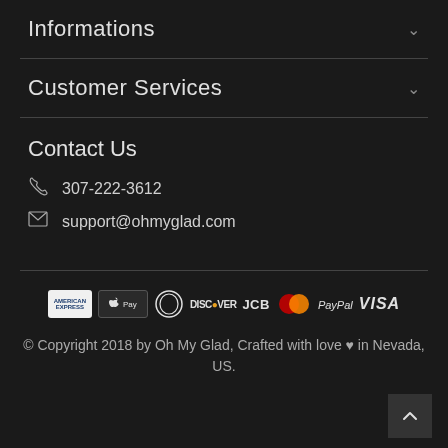Informations
Customer Services
Contact Us
307-222-3612
support@ohmyglad.com
[Figure (other): Payment method logos: American Express, Apple Pay, Diners Club, Discover, JCB, Mastercard, PayPal, Visa]
© Copyright 2018 by Oh My Glad, Crafted with love ♥ in Nevada, US.